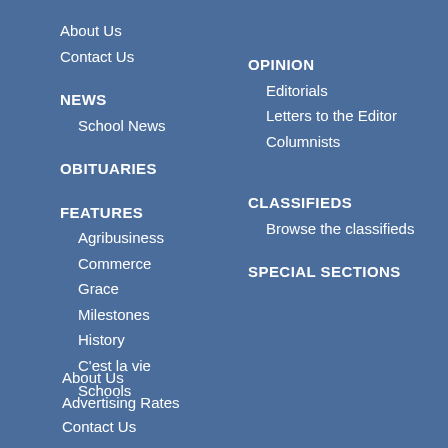About Us
Contact Us
NEWS
School News
OBITUARIES
FEATURES
Agribusiness
Commerce
Grace
Milestones
History
C'est la vie
Schools
OPINION
Editorials
Letters to the Editor
Columnists
CLASSIFIEDS
Browse the classifieds
SPECIAL SECTIONS
About Us
Advertising Rates
Contact Us